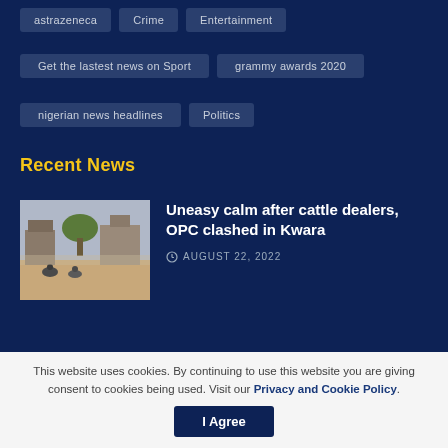astrazeneca
Crime
Entertainment
Get the lastest news on Sport
grammy awards 2020
nigerian news headlines
Politics
Recent News
[Figure (photo): Outdoor scene showing a dusty area with people and motorcycles near structures]
Uneasy calm after cattle dealers, OPC clashed in Kwara
AUGUST 22, 2022
Home / Privacy Policy / Guest Post / Contact
This website uses cookies. By continuing to use this website you are giving consent to cookies being used. Visit our Privacy and Cookie Policy.
I Agree